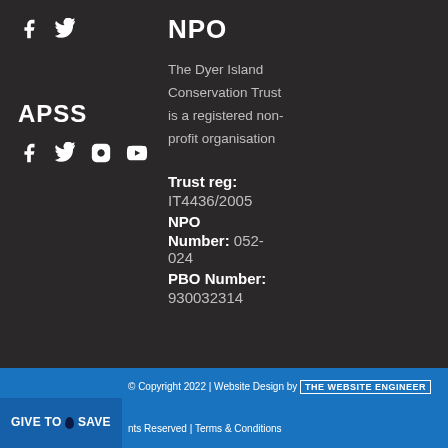NPO
[Figure (illustration): Social media icons: Facebook and Twitter]
APSS
[Figure (illustration): Social media icons: Facebook, Twitter, Instagram, YouTube]
The Dyer Island Conservation Trust is a registered non-profit organisation
Trust reg: IT4436/2005
NPO
Number: 052-024
PBO Number: 930032314
© Copyright 2022 | Website Design by THE WEBSITE ENGINEER | All Rights Reserved | Terms & Conditions